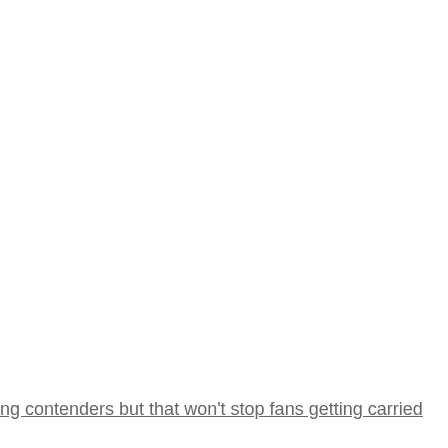ng contenders but that won't stop fans getting carried